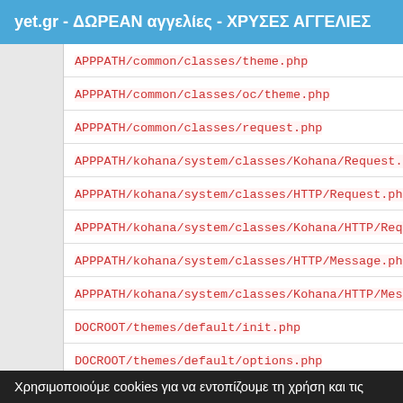yet.gr - ΔΩΡΕΑΝ αγγελίες - ΧΡΥΣΕΣ ΑΓΓΕΛΙΕΣ
APPPATH/common/classes/theme.php
APPPATH/common/classes/oc/theme.php
APPPATH/common/classes/request.php
APPPATH/kohana/system/classes/Kohana/Request.php
APPPATH/kohana/system/classes/HTTP/Request.php
APPPATH/kohana/system/classes/Kohana/HTTP/Request.php
APPPATH/kohana/system/classes/HTTP/Message.php
APPPATH/kohana/system/classes/Kohana/HTTP/Message.php
DOCROOT/themes/default/init.php
DOCROOT/themes/default/options.php
APPPATH/kohana/modules/auth/classes/Auth.php
Χρησιμοποιούμε cookies για να εντοπίζουμε τη χρήση και τις